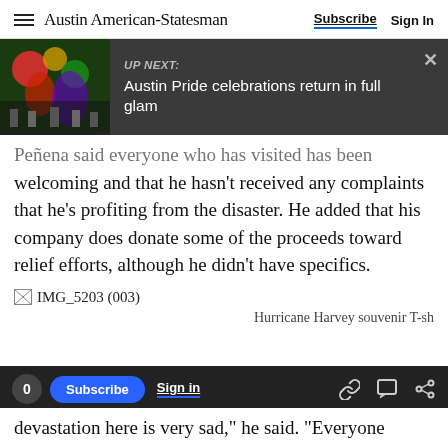Austin American-Statesman | Subscribe | Sign In
[Figure (screenshot): UP NEXT: Austin Pride celebrations return in full glam — overlay bar with colorful parade image thumbnail and close button]
Peñena said everyone who has visited has been welcoming and that he hasn't received any complaints that he's profiting from the disaster. He added that his company does donate some of the proceeds toward relief efforts, although he didn't have specifics.
[Figure (photo): Broken image placeholder labeled IMG_5203 (003)]
Hurricane Harvey souvenir T-sh
devastation here is very sad," he said. "Everyone